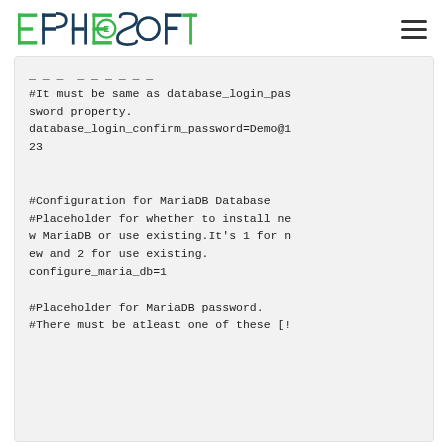EPHESOFT (logo)
#It must be same as database_login_password property.
database_login_confirm_password=Demo@123

#Configuration for MariaDB Database
#Placeholder for whether to install new MariaDB or use existing.It's 1 for new and 2 for use existing.
configure_maria_db=1

#Placeholder for MariaDB password.
#There must be atleast one of these [!